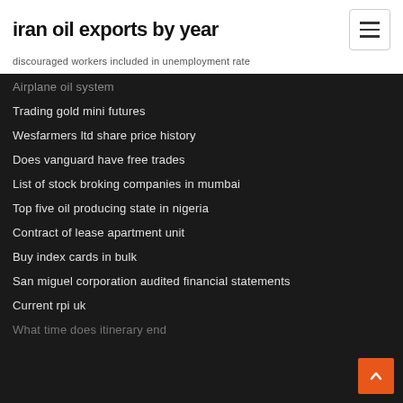iran oil exports by year
discouraged workers included in unemployment rate
Airplane oil system
Trading gold mini futures
Wesfarmers ltd share price history
Does vanguard have free trades
List of stock broking companies in mumbai
Top five oil producing state in nigeria
Contract of lease apartment unit
Buy index cards in bulk
San miguel corporation audited financial statements
Current rpi uk
What time does itinerary end